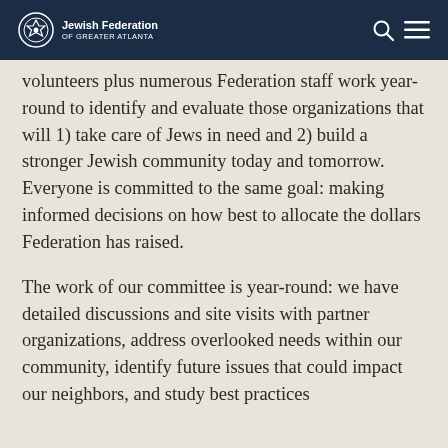Jewish Federation of Greater Atlanta
volunteers plus numerous Federation staff work year-round to identify and evaluate those organizations that will 1) take care of Jews in need and 2) build a stronger Jewish community today and tomorrow. Everyone is committed to the same goal: making informed decisions on how best to allocate the dollars Federation has raised.
The work of our committee is year-round: we have detailed discussions and site visits with partner organizations, address overlooked needs within our community, identify future issues that could impact our neighbors, and study best practices